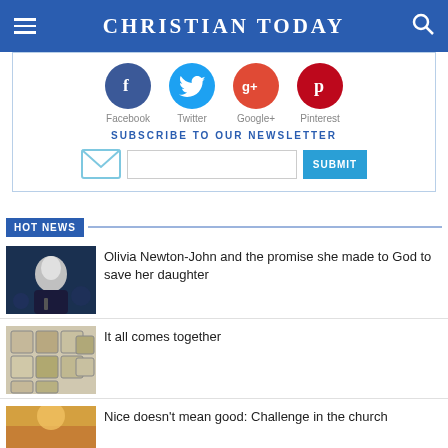CHRISTIAN TODAY
[Figure (infographic): Social media share icons: Facebook (blue circle), Twitter (light blue circle), Google+ (red/orange circle), Pinterest (dark red circle), each labeled below]
SUBSCRIBE TO OUR NEWSLETTER
HOT NEWS
[Figure (photo): Olivia Newton-John performing on stage with microphone, white/silver hair, dark outfit]
Olivia Newton-John and the promise she made to God to save her daughter
[Figure (photo): Puzzle pieces close-up image]
It all comes together
[Figure (photo): Partially visible image at bottom]
Nice doesn't mean good: Challenge in the church